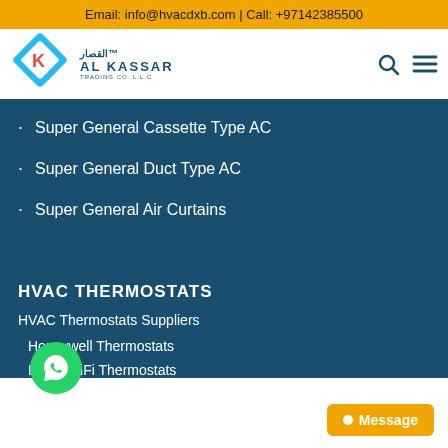Email: info@hvacdxb.com | Call: +97142385500
[Figure (logo): Al Kassar Trading Co. L.L.C logo with diamond shape and Arabic text]
Super General Cassette Type AC
Super General Duct Type AC
Super General Air Curtains
HVAC THERMOSTATS
HVAC Thermostats Suppliers
Honeywell Thermostats
Klima WiFi Thermostats